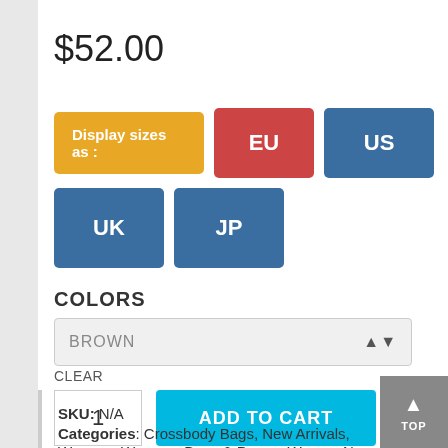$52.00
[Figure (screenshot): Size selector buttons: Display sizes as (orange label), EU (red), US (blue), UK (blue), JP (blue)]
COLORS
BROWN (dropdown select)
CLEAR
1  ADD TO CART
SKU: N/A
Categories: Crossbody Bags, New Arrivals,
Womens Womens Bags & Purses Women New...